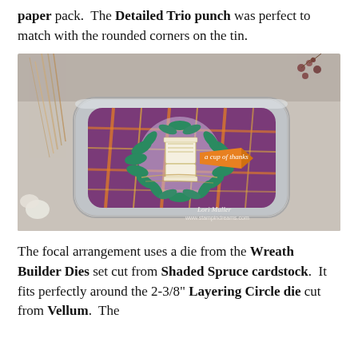paper pack. The Detailed Trio punch was perfect to match with the rounded corners on the tin.
[Figure (photo): A decorated metal tin with plaid purple and orange paper, a wreath of green leaves (Wreath Builder Dies), a circular vellum piece, a coffee cup embellishment, and an orange banner reading 'a cup of thanks'. Twine is wrapped around the tin. Credit: Lori Muller, www.stampindreams.com]
The focal arrangement uses a die from the Wreath Builder Dies set cut from Shaded Spruce cardstock. It fits perfectly around the 2-3/8" Layering Circle die cut from Vellum. The